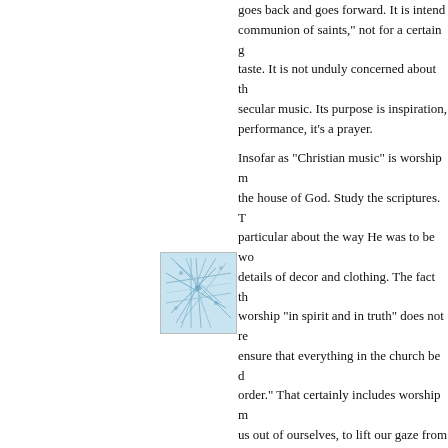goes back and goes forward. It is intended for the "communion of saints," not for a certain generation or taste. It is not unduly concerned about the differences from secular music. Its purpose is inspiration, not entertainment. In performance, it's a prayer.
Insofar as "Christian music" is worship music, it is music for the house of God. Study the scriptures. The Lord was very particular about the way He was to be worshipped, even the details of decor and clothing. The fact that Jesus asked us to worship "in spirit and in truth" does not release us to ensure that everything in the church be done "decently and in order." That certainly includes worship music that helps to lift us out of ourselves, to lift our gaze from earthly things.
How's that for starters?
Posted by: Michael Redmond | April 26, 2007 a
[Figure (illustration): Avatar/profile image with blue geometric network pattern on light blue background]
Michael said it well. Christian music is THE truth takes many paths.
I do think we compartmentalize it far too much. A friend of mine is Jewish and yet wrote many songs used widely by a Christian artist. Is that Christian music? I would argue yes, for it has blessed many people. In fact if we tested composers and lyricists to spiritual testing we might remove many worthy so...